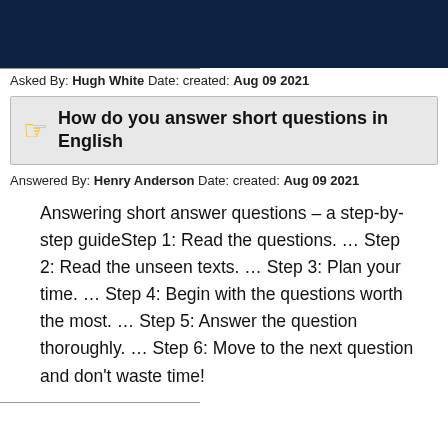[Figure (other): Dark navy blue header banner]
Asked By: Hugh White Date: created: Aug 09 2021
How do you answer short questions in English
Answered By: Henry Anderson Date: created: Aug 09 2021
Answering short answer questions – a step-by-step guideStep 1: Read the questions. … Step 2: Read the unseen texts. … Step 3: Plan your time. … Step 4: Begin with the questions worth the most. … Step 5: Answer the question thoroughly. … Step 6: Move to the next question and don't waste time!